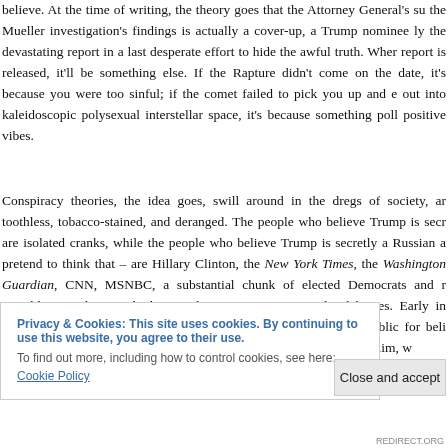believe. At the time of writing, the theory goes that the Attorney General's su the Mueller investigation's findings is actually a cover-up, a Trump nominee ly the devastating report in a last desperate effort to hide the awful truth. Wher report is released, it'll be something else. If the Rapture didn't come on the date, it's because you were too sinful; if the comet failed to pick you up and out into kaleidoscopic polysexual interstellar space, it's because something poll positive vibes.
Conspiracy theories, the idea goes, swill around in the dregs of society, ar toothless, tobacco-stained, and deranged. The people who believe Trump is secr are isolated cranks, while the people who believe Trump is secretly a Russian a pretend to think that – are Hillary Clinton, the New York Times, the Washington Guardian, CNN, MSNBC, a substantial chunk of elected Democrats and r Republicans, along with doctors, lawyers, scientists, and celebrities. Early in Washington Post published an op-ed castigating sections of the public for beli insane reactionary nativist fantasy that Barack Obama is a secret Muslim, w
Privacy & Cookies: This site uses cookies. By continuing to use this website, you agree to their use.
To find out more, including how to control cookies, see here: Cookie Policy
Close and accept
REDIRECT.ORG